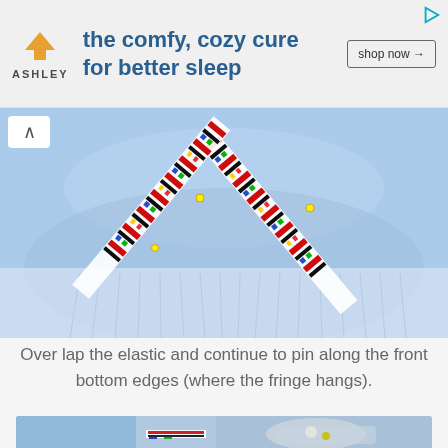[Figure (infographic): Ashley Furniture advertisement banner: orange house logo on left, bold blue text 'the comfy, cozy cure for better sleep', 'shop now →' button on right, play icon in top right corner.]
[Figure (photo): Close-up photo of colorful patterned elastic ribbon/band in a V-shape pinned onto light blue denim fabric with fringe at the bottom. The ribbon has a multicolor geometric pattern with red, black, blue, green, yellow colors on white background.]
Over lap the elastic and continue to pin along the front bottom edges (where the fringe hangs).
[Figure (photo): Photo of a sewing machine stitching the colorful patterned elastic band onto blue fabric.]